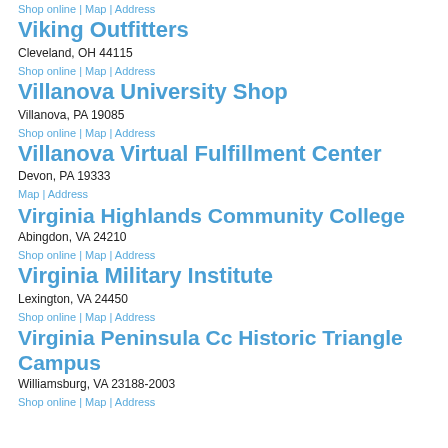Shop online | Map | Address
Viking Outfitters
Cleveland, OH 44115
Shop online | Map | Address
Villanova University Shop
Villanova, PA 19085
Shop online | Map | Address
Villanova Virtual Fulfillment Center
Devon, PA 19333
Map | Address
Virginia Highlands Community College
Abingdon, VA 24210
Shop online | Map | Address
Virginia Military Institute
Lexington, VA 24450
Shop online | Map | Address
Virginia Peninsula Cc Historic Triangle Campus
Williamsburg, VA 23188-2003
Shop online | Map | Address